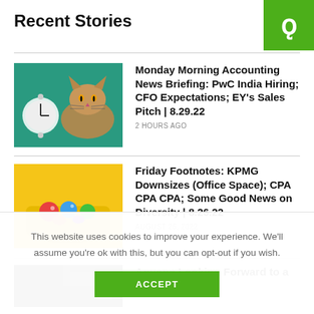[Figure (logo): Green square logo with white stylized 'G' icon]
Recent Stories
[Figure (photo): Cat lying next to alarm clock on teal background]
Monday Morning Accounting News Briefing: PwC India Hiring; CFO Expectations; EY’s Sales Pitch | 8.29.22
2 HOURS AGO
[Figure (photo): Colorful toys in a yellow bowl]
Friday Footnotes: KPMG Downsizes (Office Space); CPA CPA CPA; Some Good News on Diversity | 8.26.22
AUGUST 26, 2022
[Figure (photo): Black and white partial image]
Anyone Looking Forward to a Highly
This website uses cookies to improve your experience. We'll assume you're ok with this, but you can opt-out if you wish.